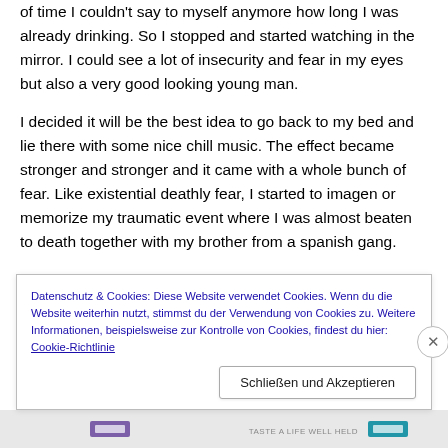of time I couldn't say to myself anymore how long I was already drinking. So I stopped and started watching in the mirror. I could see a lot of insecurity and fear in my eyes but also a very good looking young man.
I decided it will be the best idea to go back to my bed and lie there with some nice chill music. The effect became stronger and stronger and it came with a whole bunch of fear. Like existential deathly fear, I started to imagen or memorize my traumatic event where I was almost beaten to death together with my brother from a spanish gang.
Datenschutz & Cookies: Diese Website verwendet Cookies. Wenn du die Website weiterhin nutzt, stimmst du der Verwendung von Cookies zu. Weitere Informationen, beispielsweise zur Kontrolle von Cookies, findest du hier: Cookie-Richtlinie
Schließen und Akzeptieren